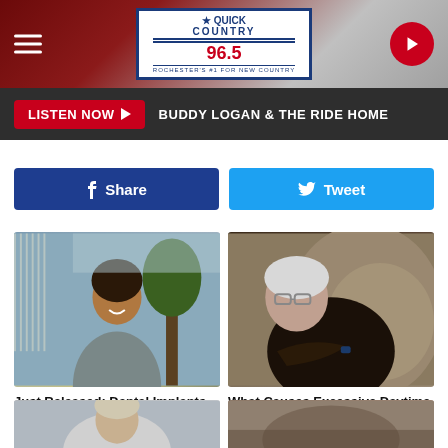[Figure (screenshot): Quick Country 96.5 radio station website header with logo, hamburger menu, and play button on red/grey background]
LISTEN NOW ▶ BUDDY LOGAN & THE RIDE HOME
[Figure (infographic): Facebook Share and Twitter Tweet social sharing buttons]
[Figure (photo): Young woman in grey scrubs smiling outdoors near trees - dental implant ad]
Just Released: Dental Implants Are Now Free With Medicare. See Options
Dental Implant | Search Ads
[Figure (photo): Elderly man sleeping in a chair with glasses - narcolepsy/excessive daytime sleepiness ad]
What Causes Excessive Daytime Sleepiness? Some May Wish They Realized Sooner
Narcolepsy | Search Ads
[Figure (photo): Partial bottom image on left side - partially visible]
[Figure (photo): Partial bottom image on right side - partially visible]